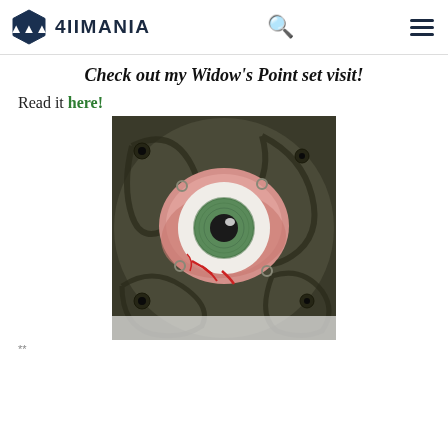4IIMANIA
Check out my 'Widow's Point' set visit!
Read it here!
[Figure (photo): A horror movie prop: a dismembered eye with green iris, pink fleshy surround with red blood streaks, set against a dark metallic biomechanical sculpture background.]
**